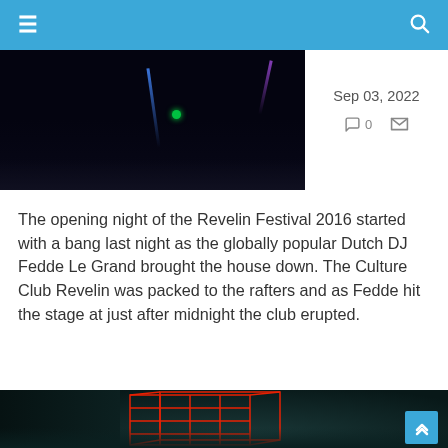≡  [navigation bar with hamburger menu and search icon]
[Figure (photo): Dark concert stage with blue and green colored light beams against black background]
Sep 03, 2022  💬 0  🗂
The opening night of the Revelin Festival 2016 started with a bang last night as the globally popular Dutch DJ Fedde Le Grand brought the house down. The Culture Club Revelin was packed to the rafters and as Fedde hit the stage at just after midnight the club erupted.
[Figure (photo): DJ Fedde Le Grand performing on stage with red laser wireframe cube structure behind him, teal/green lighting atmosphere]